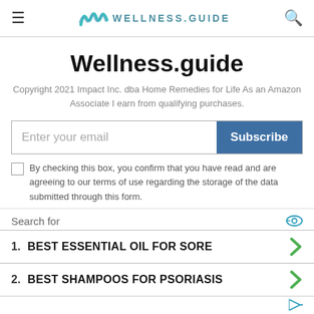WELLNESS.GUIDE
Wellness.guide
Copyright 2021 Impact Inc. dba Home Remedies for Life As an Amazon Associate I earn from qualifying purchases.
Enter your email / Subscribe
By checking this box, you confirm that you have read and are agreeing to our terms of use regarding the storage of the data submitted through this form.
Search for
1. BEST ESSENTIAL OIL FOR SORE
2. BEST SHAMPOOS FOR PSORIASIS